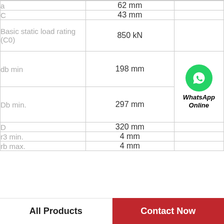| Parameter | Value |
| --- | --- |
| a | 62 mm |
| C | 43 mm |
| Basic static load rating (C0) | 850 kN |
| db min | 198 mm |
| Db min. | 297 mm |
| D | 320 mm |
| r3 min. | 4 mm |
| rb max. | 4 mm |
[Figure (logo): WhatsApp Online button with green WhatsApp logo circle and italic bold text 'WhatsApp Online']
All Products | Contact Now